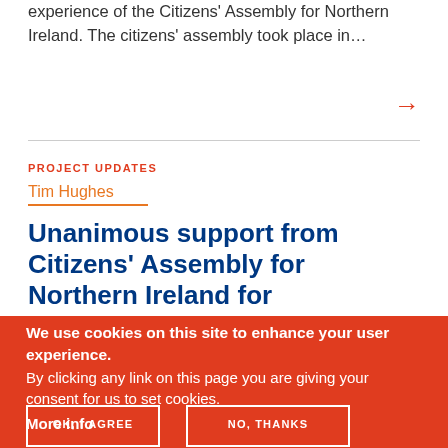experience of the Citizens' Assembly for Northern Ireland. The citizens' assembly took place in…
→
PROJECT UPDATES
Tim Hughes
Unanimous support from Citizens' Assembly for Northern Ireland for
We use cookies on this site to enhance your user experience.
By clicking any link on this page you are giving your consent for us to set cookies.
More info
OK, I AGREE
NO, THANKS